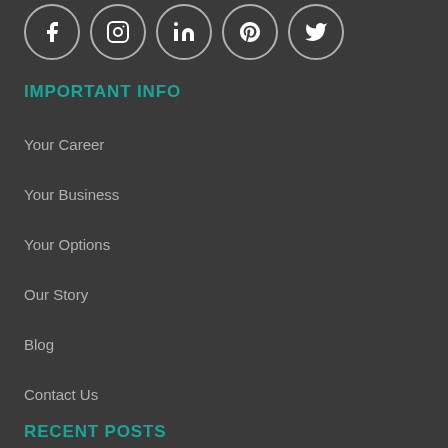[Figure (illustration): Social media icons: Facebook, Instagram, LinkedIn, Pinterest, Twitter in circular bordered buttons]
IMPORTANT INFO
Your Career
Your Business
Your Options
Our Story
Blog
Contact Us
RECENT POSTS